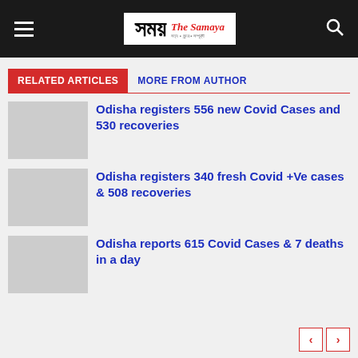The Samaya
RELATED ARTICLES
MORE FROM AUTHOR
Odisha registers 556 new Covid Cases and 530 recoveries
Odisha registers 340 fresh Covid +Ve cases & 508 recoveries
Odisha reports 615 Covid Cases & 7 deaths in a day